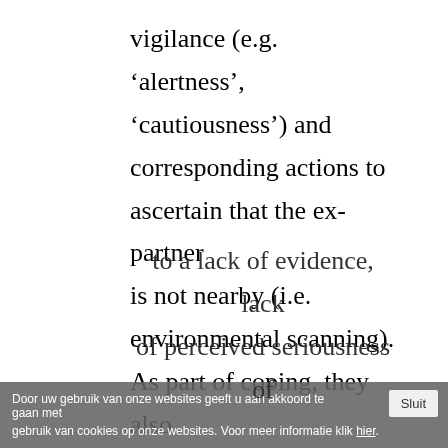vigilance (e.g. ‘alertness’, ‘cautiousness’) and corresponding actions to ascertain that the ex-partner is not nearby (i.e. environmental scanning). As part of coping, they also frequently contacted the police, who informed them that they had not been able to arrest the ex-partner due to a lack of evidence, lack of perceived seriousness of
Door uw gebruik van onze websites geeft u aan akkoord te gaan met gebruik van cookies op onze websites. Voor meer informatie klik hier. Sluit